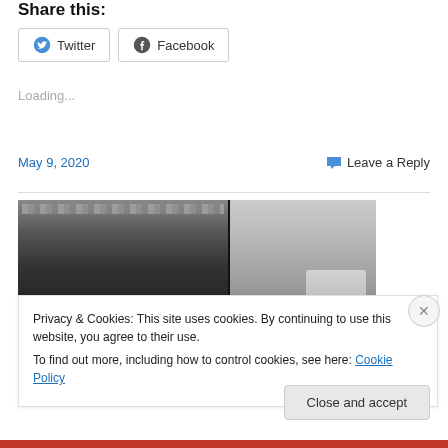Share this:
[Figure (screenshot): Two share buttons: Twitter and Facebook with icons]
Loading...
May 9, 2020
Leave a Reply
[Figure (photo): Black and white photograph showing what appears to be a building exterior with machinery on the left and a street scene with a car on the right]
Privacy & Cookies: This site uses cookies. By continuing to use this website, you agree to their use.
To find out more, including how to control cookies, see here: Cookie Policy
Close and accept